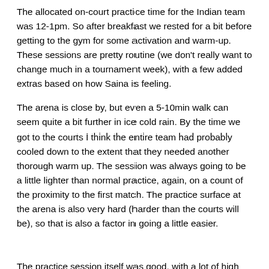The allocated on-court practice time for the Indian team was 12-1pm. So after breakfast we rested for a bit before getting to the gym for some activation and warm-up. These sessions are pretty routine (we don't really want to change much in a tournament week), with a few added extras based on how Saina is feeling.
The arena is close by, but even a 5-10min walk can seem quite a bit further in ice cold rain. By the time we got to the courts I think the entire team had probably cooled down to the extent that they needed another thorough warm up. The session was always going to be a little lighter than normal practice, again, on a count of the proximity to the first match. The practice surface at the arena is also very hard (harder than the courts will be), so that is also a factor in going a little easier.
The practice session itself was good, with a lot of high